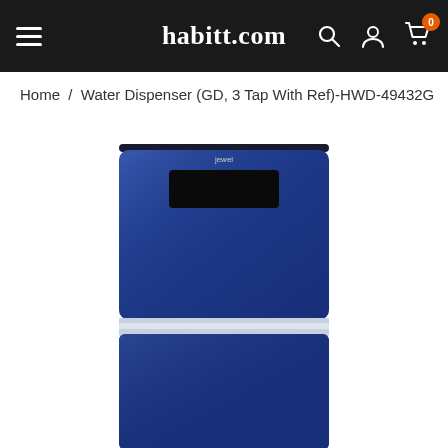habitt.com
Home / Water Dispenser (GD, 3 Tap With Ref)-HWD-49432G
[Figure (photo): Product photo of a blue floor-standing water dispenser with refrigerator (HWD-49432G), showing a sleek navy blue body with a black display panel at the top, a silver/white horizontal band in the middle separating the upper and lower sections. The background is white. The dispenser is tall and slim with a modern design.]